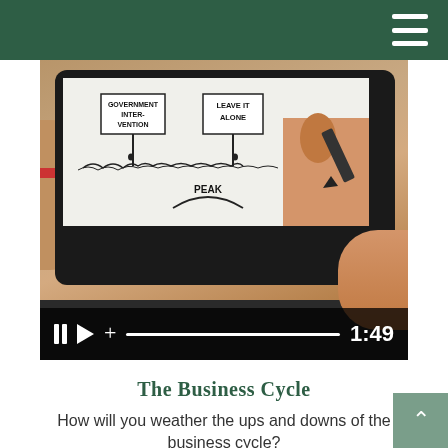[Figure (screenshot): A smartphone displaying a whiteboard-style animation video about the business cycle. The phone screen shows two signs reading 'GOVERNMENT INTERVENTION' and 'LEAVE IT ALONE' with small figures beneath, and the word 'PEAK' with an arc, while a hand holds a marker drawing on the right side. Video controls show pause, play, plus icons, a progress bar, and time 1:49.]
The Business Cycle
How will you weather the ups and downs of the business cycle?